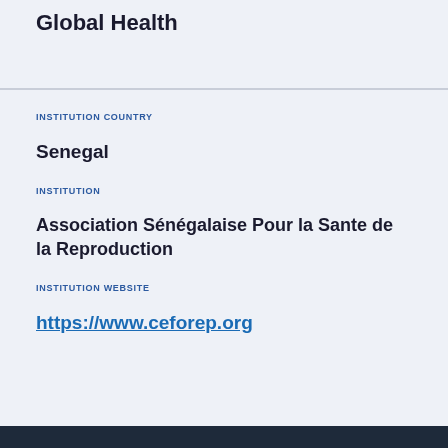Global Health
INSTITUTION COUNTRY
Senegal
INSTITUTION
Association Sénégalaise Pour la Sante de la Reproduction
INSTITUTION WEBSITE
https://www.ceforep.org